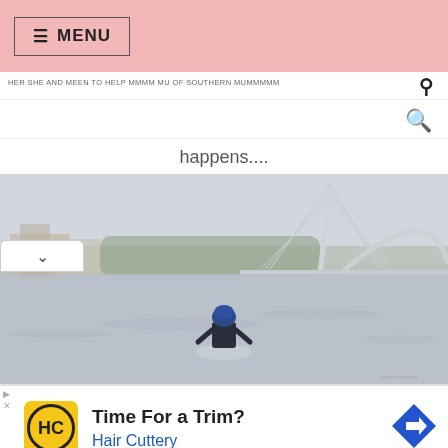≡ MENU
happens....
[Figure (photo): A person wading in a lake or reservoir with a modern cable-stayed bridge and arch bridge in the hazy background, with trees and buildings visible on the far shore.]
Time For a Trim? Hair Cuttery